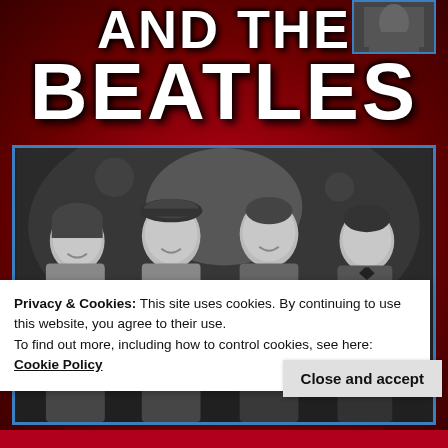[Figure (photo): Book cover with red background showing 'AND THE BEATLES' title text and a black-and-white photo of the four Beatles members posing together, with subtitle 'Love and Rivalry Between the Two Biggest Acts of the 20th Century']
Privacy & Cookies: This site uses cookies. By continuing to use this website, you agree to their use.
To find out more, including how to control cookies, see here: Cookie Policy
Close and accept